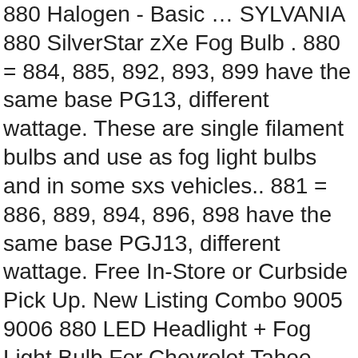880 Halogen - Basic … SYLVANIA 880 SilverStar zXe Fog Bulb . 880 = 884, 885, 892, 893, 899 have the same base PG13, different wattage. These are single filament bulbs and use as fog light bulbs and in some sxs vehicles.. 881 = 886, 889, 894, 896, 898 have the same base PGJ13, different wattage. Free In-Store or Curbside Pick Up. New Listing Combo 9005 9006 880 LED Headlight + Fog Light Bulb For Chevrolet Tahoe 2001-2006. Sylvania LED. Better Performance. LED Color . Light Color: Ultra Blue. $14.99. BA9s LED Bulb - 5 SMD LED Tower - BA9s Retrofit … 880 CAN Bus LED Daytime Running Light Bulb - 177 Lumens. Super bright C-HR vision PG13 base H27 880 LED fog lights, headlights (off-road use), cornering lights replacement upgrade halogen lamps for automotive cars, trucks. $10.35. Different light bulb forms often have different ratings and prices, so by using one throughout the article, we can directly compare their specifications. Brand New. Built-in Smart IC Driver. AUXITO 880 890 892